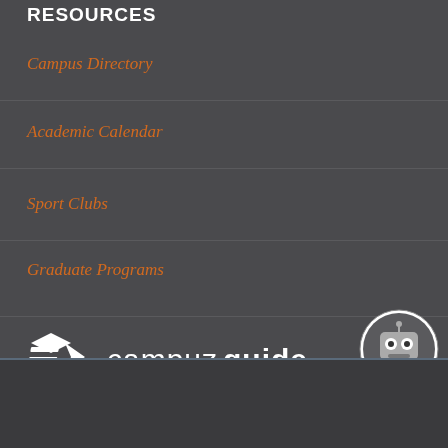RESOURCES
Campus Directory
Academic Calendar
Sport Clubs
Graduate Programs
[Figure (logo): CampuzGuide logo — mortarboard icon with stacked lines on the left, 'campuzguide' wordmark in white sans-serif on dark background]
[Figure (illustration): Circular robot mascot badge with googly eyes, white circle border on dark background]
Copyright © Campuzguide.com | Under Management of CampuzEduTech
claimer | Sitemap
English (language selector dropdown)